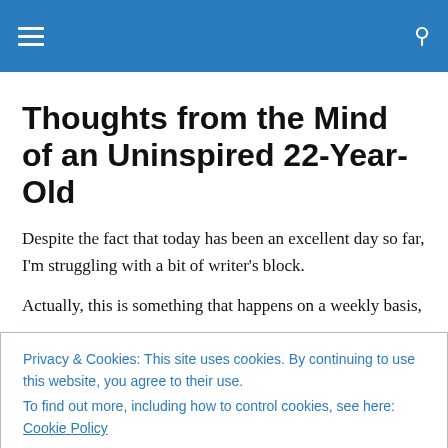Navigation menu with hamburger icon and search icon
Thoughts from the Mind of an Uninspired 22-Year-Old
Despite the fact that today has been an excellent day so far, I'm struggling with a bit of writer's block.
Actually, this is something that happens on a weekly basis,
Privacy & Cookies: This site uses cookies. By continuing to use this website, you agree to their use.
To find out more, including how to control cookies, see here: Cookie Policy
other days, or in this case, other weeks, I feel like I really